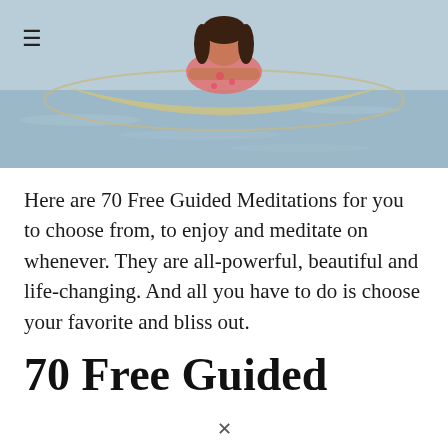[Figure (photo): Woman relaxing in a hammock over water, wearing a pink floral outfit, viewed from below/front. A hamburger menu icon (three horizontal lines) is visible in the top-left corner of the image.]
Here are 70 Free Guided Meditations for you to choose from, to enjoy and meditate on whenever. They are all-powerful, beautiful and life-changing. And all you have to do is choose your favorite and bliss out.
70 Free Guided